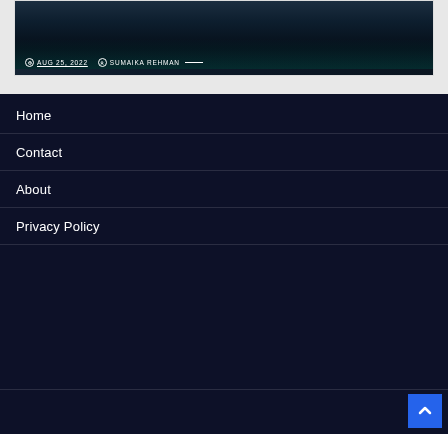[Figure (photo): Dark laptop with glowing teal keyboard in a dark setting. Shows metadata overlay: date AUG 25, 2022 and author SUMAIKA REHMAN.]
Home
Contact
About
Privacy Policy
↑ scroll to top button